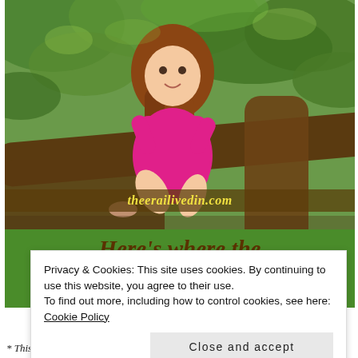[Figure (photo): A young girl with long brown hair wearing a pink dress, sitting and smiling on a large tree branch surrounded by green leaves.]
theerailivedin.com
Here's where the true joy
Privacy & Cookies: This site uses cookies. By continuing to use this website, you agree to their use.
To find out more, including how to control cookies, see here: Cookie Policy
Close and accept
* This post is part of the April A to Z Challenge.